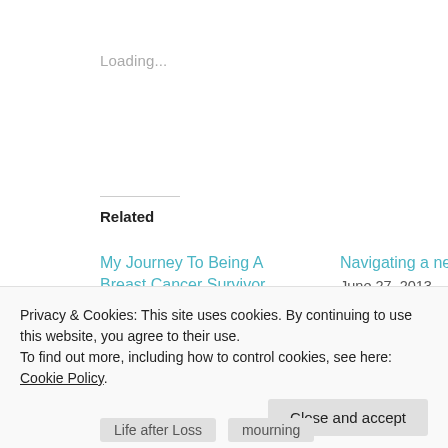Loading...
Related
My Journey To Being A Breast Cancer Survivor
December 20, 2011
In "Cancer"
Navigating a new reality
June 27, 2013
In "Life"
What color ribbon does imaginary cancer get?
September 29, 2012
Privacy & Cookies: This site uses cookies. By continuing to use this website, you agree to their use.
To find out more, including how to control cookies, see here: Cookie Policy
Close and accept
Life after Loss	mourning